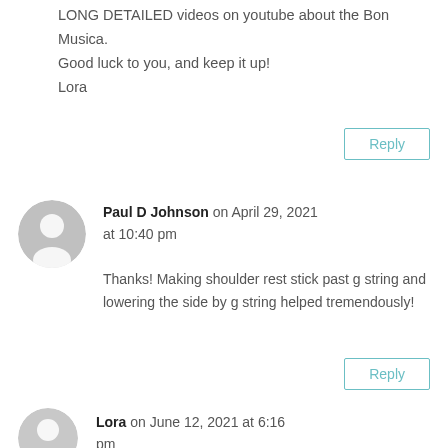LONG DETAILED videos on youtube about the Bon Musica.
Good luck to you, and keep it up!
Lora
Reply
Paul D Johnson on April 29, 2021 at 10:40 pm
Thanks! Making shoulder rest stick past g string and lowering the side by g string helped tremendously!
Reply
Lora on June 12, 2021 at 6:16 pm